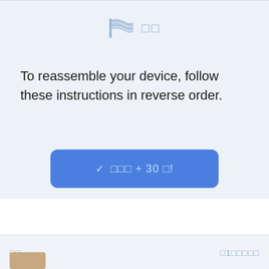[Figure (illustration): Light blue flag icon with wavy stripes, followed by two placeholder square characters in light blue]
To reassemble your device, follow these instructions in reverse order.
[Figure (other): Blue rounded rectangle button with checkmark and placeholder text '□□□ + 30 □!']
□□
□1□□□□□